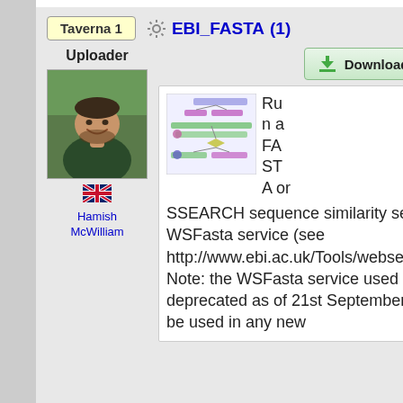Taverna 1
EBI_FASTA (1)
Uploader
[Figure (photo): Photo of Hamish McWilliam, a man smiling outdoors]
[Figure (illustration): UK flag icon (Union Jack)]
Hamish McWilliam
Download
[Figure (screenshot): Workflow diagram thumbnail showing nodes and connections for EBI_FASTA workflow]
Run a FASTA or SSEARCH sequence similarity search using the EBI's WSFasta service (see http://www.ebi.ac.uk/Tools/webservices/services/fasta). Note: the WSFasta service used by this workflow is deprecated as of 21st September 2010 and should not be used in any new